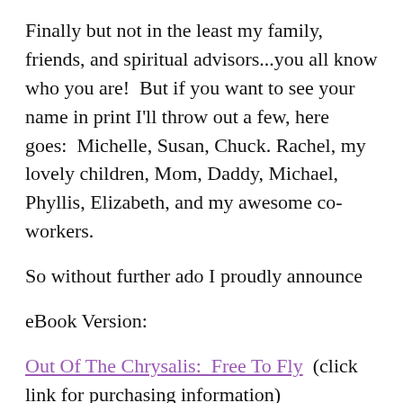Finally but not in the least my family, friends, and spiritual advisors...you all know who you are!  But if you want to see your name in print I'll throw out a few, here goes:  Michelle, Susan, Chuck. Rachel, my lovely children, Mom, Daddy, Michael, Phyllis, Elizabeth, and my awesome co-workers.
So without further ado I proudly announce
eBook Version:
Out Of The Chrysalis:  Free To Fly  (click link for purchasing information)
[Figure (other): Broken image placeholder with alt text 'Out of the Chrysalis : Free to Fly']
Paper back print version: